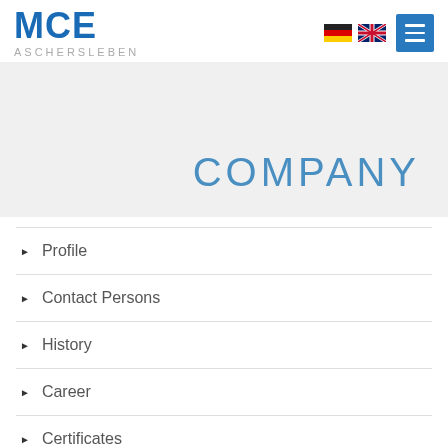[Figure (logo): MCE Aschersleben logo in blue bold text with ASCHERSLEBEN subtitle in gray]
[Figure (illustration): German and UK flag icons for language selection, and a blue hamburger menu button]
[Figure (illustration): Light gray hero banner area]
COMPANY
Profile
Contact Persons
History
Career
Certificates